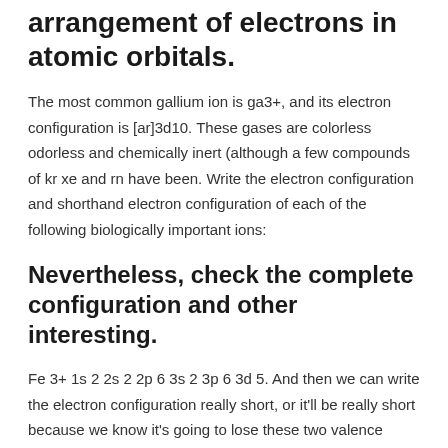arrangement of electrons in atomic orbitals.
The most common gallium ion is ga3+, and its electron configuration is [ar]3d10. These gases are colorless odorless and chemically inert (although a few compounds of kr xe and rn have been. Write the electron configuration and shorthand electron configuration of each of the following biologically important ions:
Nevertheless, check the complete configuration and other interesting.
Fe 3+ 1s 2 2s 2 2p 6 3s 2 3p 6 3d 5. And then we can write the electron configuration really short, or it'll be really short because we know it's going to lose these two valence electrons and then, it will have the electron configuration which is just the same as argon. For example, calcium is element 20.
In writing the electron configuration for